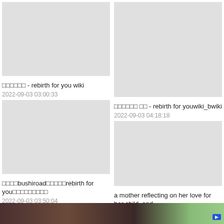[Figure (photo): Gray placeholder thumbnail, top left card]
□□□□□□ - rebirth for you wiki
2022-09-03 03:00:33
[Figure (photo): Gray placeholder thumbnail, bottom left card]
□□□□bushiroad□□□□□rebirth for you□□□□□□□□□
2022-09-03 03:50:04
[Figure (photo): Gray placeholder thumbnail, top right card]
□□□□□□ □□ - rebirth for youwiki_bwiki
2022-09-03 04:18:18
[Figure (photo): Gray placeholder thumbnail, bottom right card]
a mother reflecting on her love for her child, and
[Figure (photo): Dark brownish photo strip at the very bottom of the page showing a close-up of a person's face]